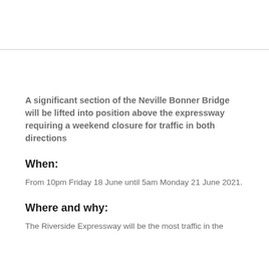A significant section of the Neville Bonner Bridge will be lifted into position above the expressway requiring a weekend closure for traffic in both directions
When:
From 10pm Friday 18 June until 5am Monday 21 June 2021.
Where and why:
The Riverside Expressway will be the most traffic in the